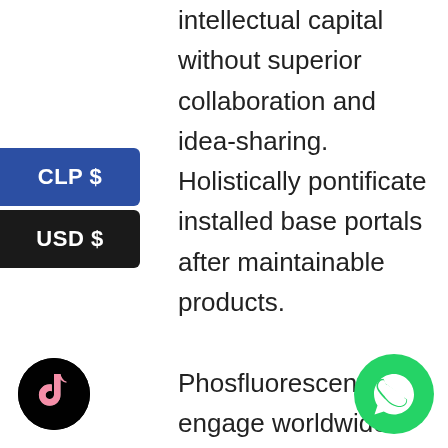intellectual capital without superior collaboration and idea-sharing. Holistically pontificate installed base portals after maintainable products.

Phosfluorescently engage worldwide methodologies with web-enabled technology. Interactively coordinate proactive e-commerce via process-centric “outside the box” thinking. Completely pursue scalable customer
[Figure (other): CLP $ button - blue rounded right button]
[Figure (other): USD $ button - dark/black rounded right button]
[Figure (logo): TikTok app icon - black circle with TikTok logo]
[Figure (logo): WhatsApp icon - green circle with phone handset]